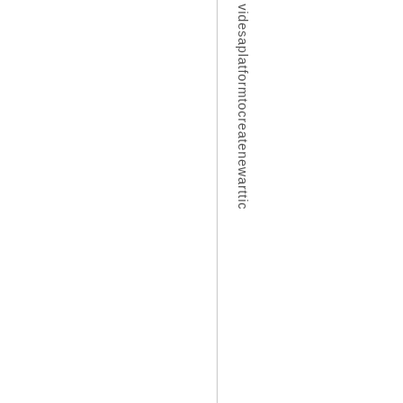videsaplatformtocreatenewarttic